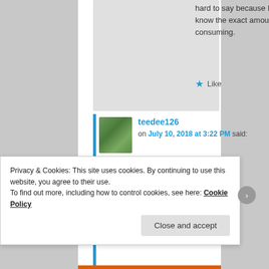hard to say because I don't know the exact amount you are consuming.
★ Like
teedee126 on July 10, 2018 at 3:22 PM said:
Privacy & Cookies: This site uses cookies. By continuing to use this website, you agree to their use. To find out more, including how to control cookies, see here: Cookie Policy